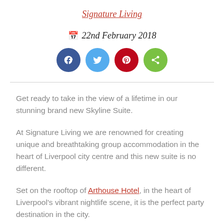Signature Living
22nd February 2018
[Figure (infographic): Social media share buttons: Facebook (blue), Twitter (light blue), Pinterest (red), Share (green)]
Get ready to take in the view of a lifetime in our stunning brand new Skyline Suite.
At Signature Living we are renowned for creating unique and breathtaking group accommodation in the heart of Liverpool city centre and this new suite is no different.
Set on the rooftop of Arthouse Hotel, in the heart of Liverpool's vibrant nightlife scene, it is the perfect party destination in the city.